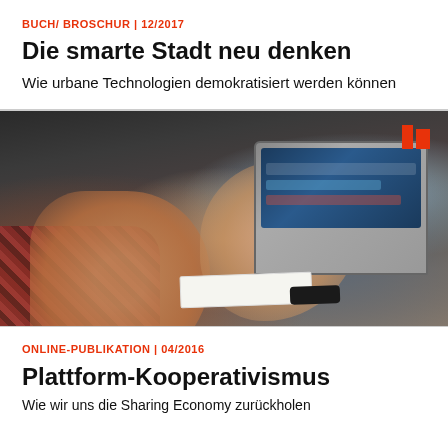BUCH/ BROSCHUR | 12/2017
Die smarte Stadt neu denken
Wie urbane Technologien demokratisiert werden können
[Figure (photo): A person in a plaid shirt gesturing with hands near a laptop on a wooden table during a meeting or presentation. A red logo mark is visible in the upper right corner of the photo.]
ONLINE-PUBLIKATION | 04/2016
Plattform-Kooperativismus
Wie wir uns die Sharing Economy zurückholen